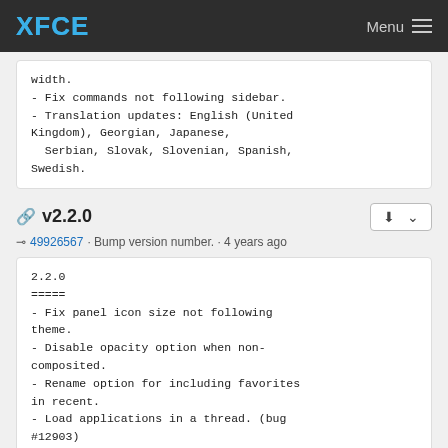XFCE   Menu
width.
- Fix commands not following sidebar.
- Translation updates: English (United Kingdom), Georgian, Japanese,
  Serbian, Slovak, Slovenian, Spanish,
Swedish.
v2.2.0
49926567 · Bump version number. · 4 years ago
2.2.0
=====
- Fix panel icon size not following theme.
- Disable opacity option when non-composited.
- Rename option for including favorites in recent.
- Load applications in a thread. (bug #12903)